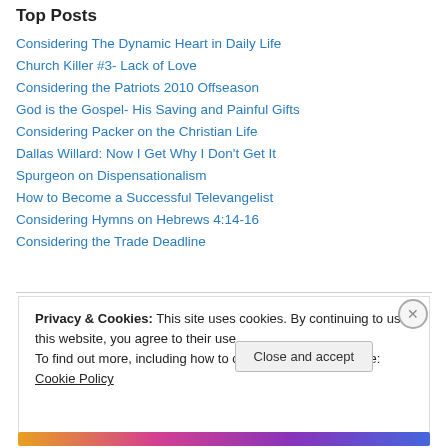Top Posts
Considering The Dynamic Heart in Daily Life
Church Killer #3- Lack of Love
Considering the Patriots 2010 Offseason
God is the Gospel- His Saving and Painful Gifts
Considering Packer on the Christian Life
Dallas Willard: Now I Get Why I Don't Get It
Spurgeon on Dispensationalism
How to Become a Successful Televangelist
Considering Hymns on Hebrews 4:14-16
Considering the Trade Deadline
Privacy & Cookies: This site uses cookies. By continuing to use this website, you agree to their use. To find out more, including how to control cookies, see here: Cookie Policy
Close and accept